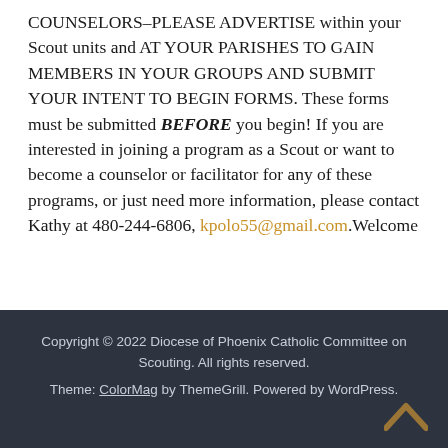COUNSELORS–PLEASE ADVERTISE within your Scout units and AT YOUR PARISHES TO GAIN MEMBERS IN YOUR GROUPS AND SUBMIT YOUR INTENT TO BEGIN FORMS. These forms must be submitted BEFORE you begin! If you are interested in joining a program as a Scout or want to become a counselor or facilitator for any of these programs, or just need more information, please contact Kathy at 480-244-6806, kpolo55@gmail.com.Welcome
Copyright © 2022 Diocese of Phoenix Catholic Committee on Scouting. All rights reserved. Theme: ColorMag by ThemeGrill. Powered by WordPress.